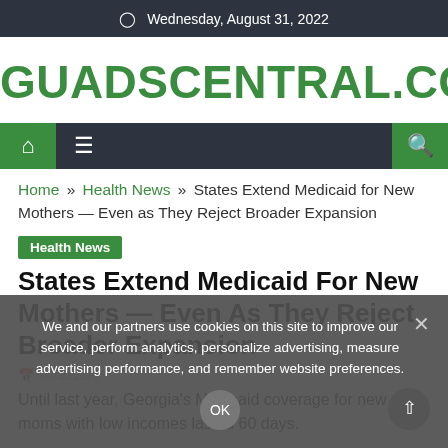Wednesday, August 31, 2022
GUADSCENTRAL.COM
[Figure (screenshot): Navigation bar with home icon, hamburger menu, and search icon on dark background with green accent boxes]
Home » Health News » States Extend Medicaid for New Mothers — Even as They Reject Broader Expansion
Health News
States Extend Medicaid For New Mothers — Even As They Reject Broader Expansion
Until last year, Georgia's Medicaid coverage for new moms with low incomes lasted 60 days.
We and our partners use cookies on this site to improve our service, perform analytics, personalize advertising, measure advertising performance, and remember website preferences.